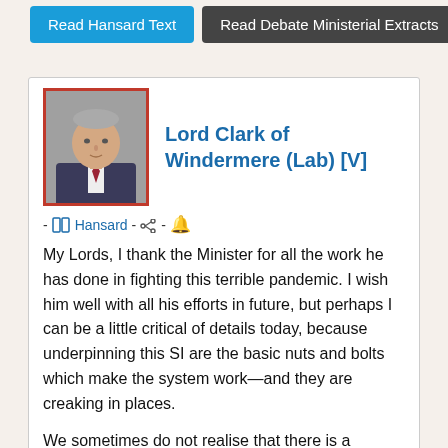[Figure (screenshot): Two buttons: 'Read Hansard Text' (blue) and 'Read Debate Ministerial Extracts' (dark grey)]
[Figure (photo): Headshot of Lord Clark of Windermere, an older man in a suit with a red-bordered frame, next to his name in blue: Lord Clark of Windermere (Lab) [V]]
- Hansard - - 🔔
My Lords, I thank the Minister for all the work he has done in fighting this terrible pandemic. I wish him well with all his efforts in future, but perhaps I can be a little critical of details today, because underpinning this SI are the basic nuts and bolts which make the system work—and they are creaking in places.
We sometimes do not realise that there is a